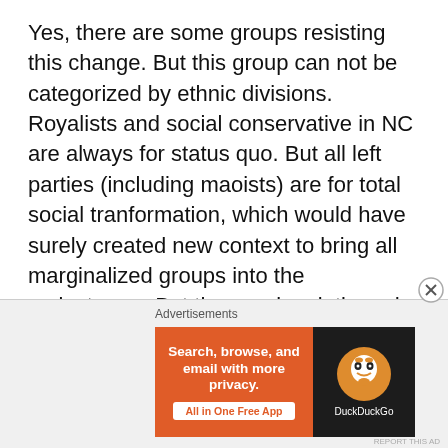Yes, there are some groups resisting this change. But this group can not be categorized by ethnic divisions. Royalists and social conservative in NC are always for status quo. But all left parties (including maoists) are for total social tranformation, which would have surely created new context to bring all marginalized groups into the mainstream. But the way janajatis and madhesis are waging their movement now, it is putting the left-parties on defense. Look! person like Shekhar Gurung (hardcore royalist) is now leading the janajati movement.

What the marginalized groups (janajati/madhesi) needed is a long-haul EVOLUTION rather than one-shot
[Figure (other): Advertisement banner: DuckDuckGo app advertisement with orange background. Text reads 'Search, browse, and email with more privacy. All in One Free App' with DuckDuckGo logo on dark background.]